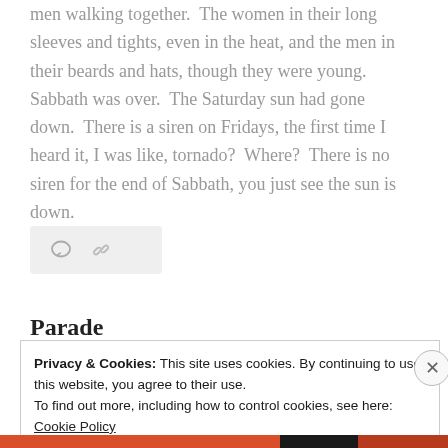men walking together.  The women in their long sleeves and tights, even in the heat, and the men in their beards and hats, though they were young.  Sabbath was over.  The Saturday sun had gone down.  There is a siren on Fridays, the first time I heard it, I was like, tornado?  Where?  There is no siren for the end of Sabbath, you just see the sun is down.
[Figure (other): Icon bar with comment bubble and link icons on a light grey rounded rectangle background]
Parade
Privacy & Cookies: This site uses cookies. By continuing to use this website, you agree to their use.
To find out more, including how to control cookies, see here: Cookie Policy

Close and accept